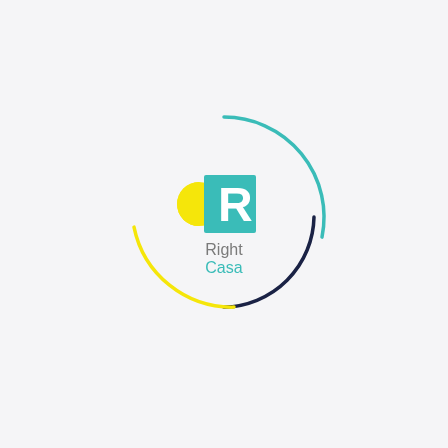[Figure (logo): Right Casa logo: a yellow half-circle on the left, a teal square with white letter R on the right, three concentric arcs (teal, dark navy, yellow) forming a circular swash around the logo mark, and the text 'Right Casa' in gray/teal below.]